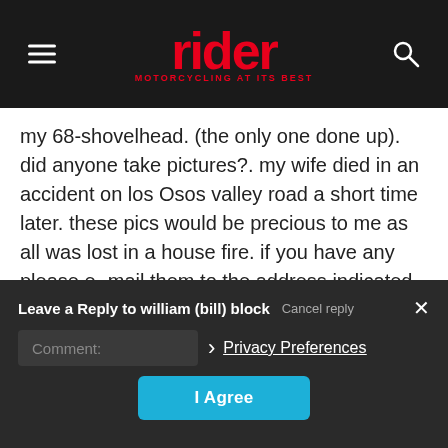[Figure (logo): Rider magazine logo — red bold 'rider' text with tagline 'MOTORCYCLING AT ITS BEST']
my 68-shovelhead. (the only one done up). did anyone take pictures?. my wife died in an accident on los Osos valley road a short time later. these pics would be precious to me as all was lost in a house fire. if you have any please e- mail them to the address indicated, I'd be very grateful.
Reply
Leave a Reply to william (bill) block  Cancel reply
Comment:
Privacy Preferences
I Agree